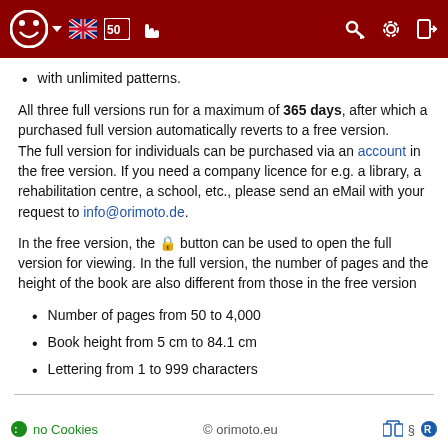orimoto.eu navigation header
with unlimited patterns.
All three full versions run for a maximum of 365 days, after which a purchased full version automatically reverts to a free version.
The full version for individuals can be purchased via an account in the free version. If you need a company licence for e.g. a library, a rehabilitation centre, a school, etc., please send an eMail with your request to info@orimoto.de.
In the free version, the 🔒 button can be used to open the full version for viewing. In the full version, the number of pages and the height of the book are also different from those in the free version
Number of pages from 50 to 4,000
Book height from 5 cm to 84.1 cm
Lettering from 1 to 999 characters
no Cookies  © orimoto.eu